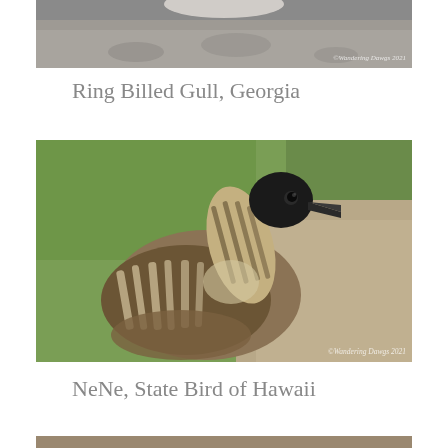[Figure (photo): Close-up photo of a Ring Billed Gull bird on sandy ground, partially cropped at top. Watermark reads '©Wandering Dawgs 2021'.]
Ring Billed Gull, Georgia
[Figure (photo): Close-up photo of a NeNe (Hawaiian goose), the State Bird of Hawaii, showing distinctive striped neck and black head, standing near grass and dirt path. Watermark reads '©Wandering Dawgs 2021'.]
NeNe, State Bird of Hawaii
[Figure (photo): Partial photo of a bird, cropped at bottom of page.]